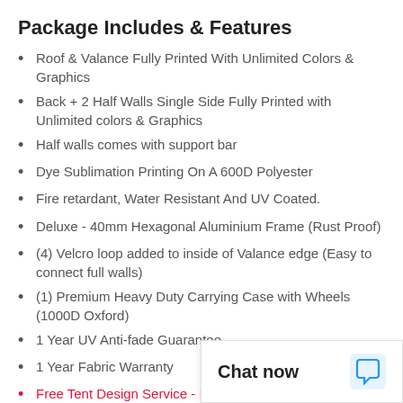Package Includes & Features
Roof & Valance Fully Printed With Unlimited Colors & Graphics
Back + 2 Half Walls Single Side Fully Printed with Unlimited colors & Graphics
Half walls comes with support bar
Dye Sublimation Printing On A 600D Polyester
Fire retardant, Water Resistant And UV Coated.
Deluxe - 40mm Hexagonal Aluminium Frame (Rust Proof)
(4) Velcro loop added to inside of Valance edge (Easy to connect full walls)
(1) Premium Heavy Duty Carrying Case with Wheels (1000D Oxford)
1 Year UV Anti-fade Guarantee
1 Year Fabric Warranty
Free Tent Design Service - Instructions
Optional Upgrades
Premium - 50mm Hexago... Proof)
Back + 2 Half Walls Back...